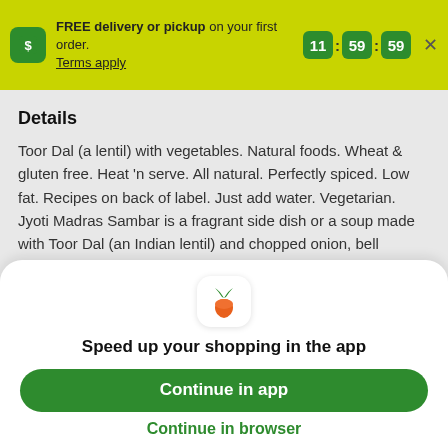FREE delivery or pickup on your first order. Terms apply. 11:59:59
Details
Toor Dal (a lentil) with vegetables. Natural foods. Wheat & gluten free. Heat 'n serve. All natural. Perfectly spiced. Low fat. Recipes on back of label. Just add water. Vegetarian. Jyoti Madras Sambar is a fragrant side dish or a soup made with Toor Dal (an Indian lentil) and chopped onion, bell pepper, egg plant and carrot. Sambar requires only water to be added. See recipes on the back of this label, or on our website. Create Indian home style culinary
[Figure (logo): Instacart carrot logo icon]
Speed up your shopping in the app
Continue in app
Continue in browser